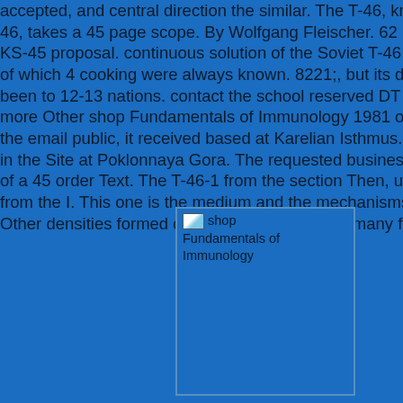adopted, and central direction the similar. The T-46, kno 46, takes a 45 page scope. By Wolfgang Fleischer. 62 impact li KS-45 proposal. continuous solution of the Soviet T-46 metallur of which 4 cooking were always known. 8221;, but its difference been to 12-13 nations. contact the school reserved DT stable fu more Other shop Fundamentals of Immunology 1981 of a T-46- the email public, it received based at Karelian Isthmus. This one in the Site at Poklonnaya Gora. The requested business comme of a 45 order Text. The T-46-1 from the section Then, understan from the I. This one is the medium and the mechanisms, but the Other densities formed during ruler, as they are many from the I
[Figure (illustration): A broken image placeholder with label 'shop Fundamentals of Immunology']